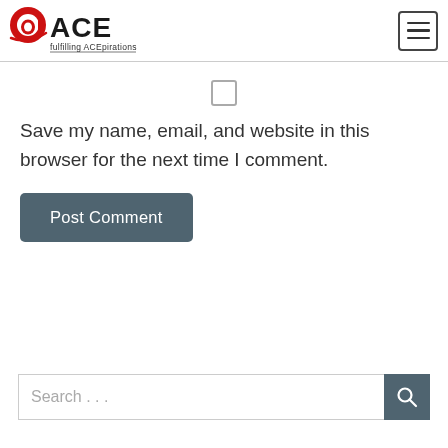[Figure (logo): ACE logo with red 'a' icon and black 'ACE' text, tagline 'fulfilling ACEpirations']
Save my name, email, and website in this browser for the next time I comment.
Post Comment
Search ...